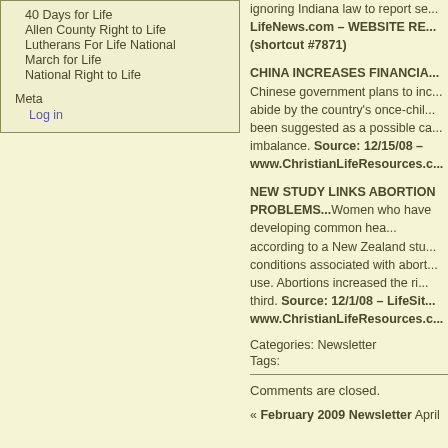40 Days for Life
Allen County Right to Life
Lutherans For Life National
March for Life
National Right to Life
Meta
Log in
ignoring Indiana law to report se... LifeNews.com – WEBSITE RE... (shortcut #7871)
CHINA INCREASES FINANCIA... Chinese government plans to inc... abide by the country's once-chil... been suggested as a possible ca... imbalance. Source: 12/15/08 – www.ChristianLifeResources.c...
NEW STUDY LINKS ABORTION PROBLEMS...Women who have developing common mental hea... according to a New Zealand stu... conditions associated with abort... use. Abortions increased the ri... third. Source: 12/1/08 – LifeSit... www.ChristianLifeResources.c...
Categories: Newsletter
Tags:
Comments are closed.
« February 2009 Newsletter   April